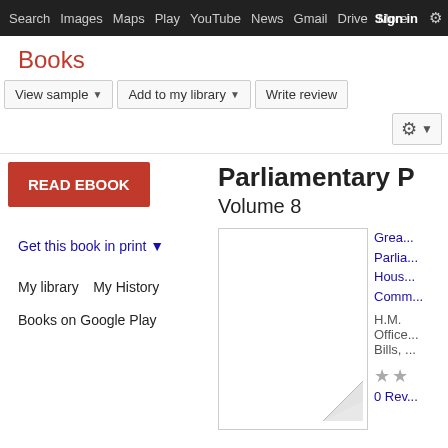Search  Images  Maps  Play  YouTube  News  Gmail  Drive  More  Sign In  [gear]
Books
View sample ▾   Add to my library ▾   Write review   [gear] ▾
READ EBOOK
Get this book in print ▾
My library
My History
Books on Google Play
Parliamentary P
Volume 8
Great Britain. Parliament
House of Commons
H.M. Stationery Office, Bills,
★★
0 Reviews